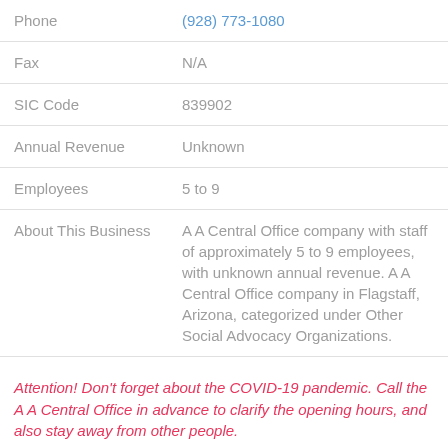| Field | Value |
| --- | --- |
| Phone | (928) 773-1080 |
| Fax | N/A |
| SIC Code | 839902 |
| Annual Revenue | Unknown |
| Employees | 5 to 9 |
| About This Business | A A Central Office company with staff of approximately 5 to 9 employees, with unknown annual revenue. A A Central Office company in Flagstaff, Arizona, categorized under Other Social Advocacy Organizations. |
Attention! Don't forget about the COVID-19 pandemic. Call the A A Central Office in advance to clarify the opening hours, and also stay away from other people.